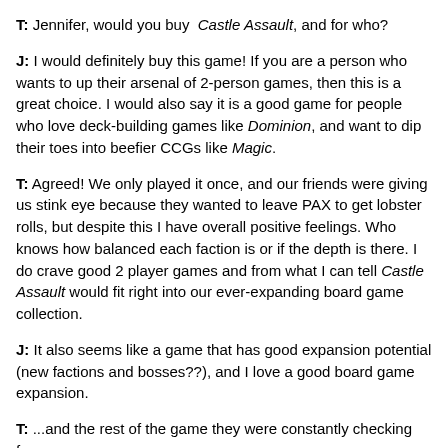T: Jennifer, would you buy Castle Assault, and for who?
J: I would definitely buy this game! If you are a person who wants to up their arsenal of 2-person games, then this is a great choice. I would also say it is a good game for people who love deck-building games like Dominion, and want to dip their toes into beefier CCGs like Magic.
T: Agreed! We only played it once, and our friends were giving us stink eye because they wanted to leave PAX to get lobster rolls, but despite this I have overall positive feelings. Who knows how balanced each faction is or if the depth is there. I do crave good 2 player games and from what I can tell Castle Assault would fit right into our ever-expanding board game collection.
J: It also seems like a game that has good expansion potential (new factions and bosses??), and I love a good board game expansion.
T: ...and the rest of the game they were constantly checking for...